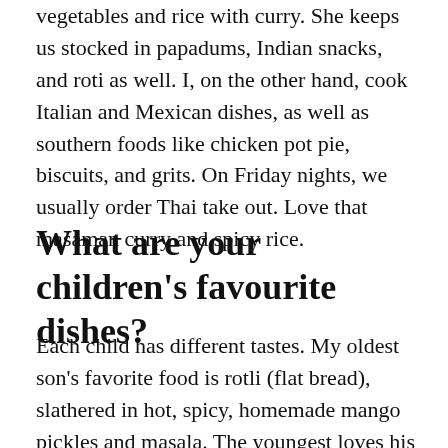vegetables and rice with curry. She keeps us stocked in papadums, Indian snacks, and roti as well. I, on the other hand, cook Italian and Mexican dishes, as well as southern foods like chicken pot pie, biscuits, and grits. On Friday nights, we usually order Thai take out. Love that masaman curry and spicy rice.
What are your children's favourite dishes?
Each child has different tastes. My oldest son's favorite food is rotli (flat bread), slathered in hot, spicy, homemade mango pickles and masala. The youngest loves his Indian grandmother's breakfast foods, idara and gora no lot. The other three